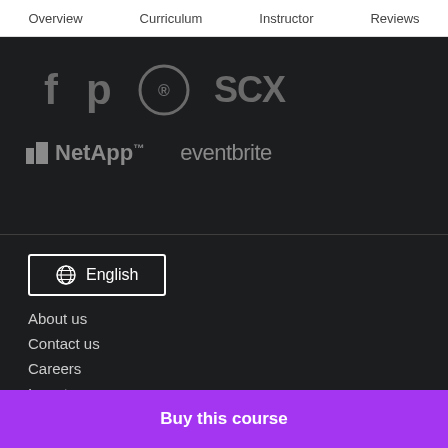Overview  Curriculum  Instructor  Reviews
[Figure (logo): Partial logos visible at top: partial letter logos and a circle logo, then NetApp and eventbrite logos below]
[Figure (logo): Language selector button with globe icon and text English]
About us
Contact us
Careers
Investors
Terms
Privacy policy
Buy this course